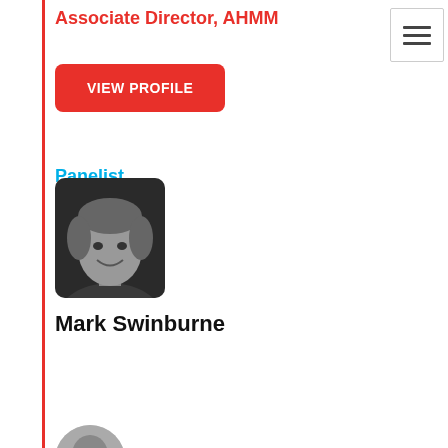Associate Director, AHMM
[Figure (other): Hamburger menu icon button]
VIEW PROFILE
Panelist
[Figure (photo): Black and white headshot photo of Mark Swinburne]
Mark Swinburne
We use cookies to improve your experience on our site. By using our site you consent to our cookies.
OK
[Figure (photo): Partial headshot photo of second person at bottom of page]